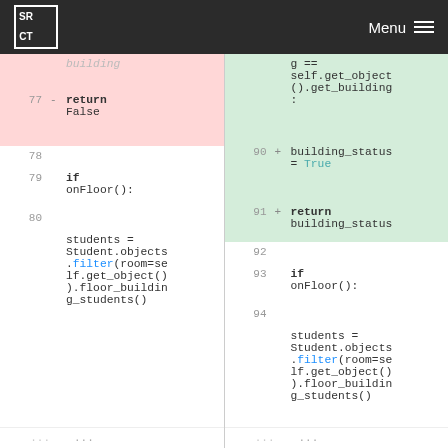SR CT  Menu
| line_old | marker | code_old | line_new | marker | code_new |
| --- | --- | --- | --- | --- | --- |
|  |  | building |  |  | g ==
self.get_object
().get_building
: |
| 77 | - | return
False | 90 | + | building_status
= True |
|  |  |  | 91 | + | return
building_status |
| 78 |  |  | 92 |  |  |
| 79 |  | if
onFloor(): | 93 |  | if
onFloor(): |
| 80 |  |  | 94 |  |  |
|  |  | students =
Student.objects
.filter(room=self.get_object()
).floor_buildin
g_students() |  |  | students =
Student.objects
.filter(room=self.get_object()
).floor_buildin
g_students() |
| ... |  |  | ... |  |  |